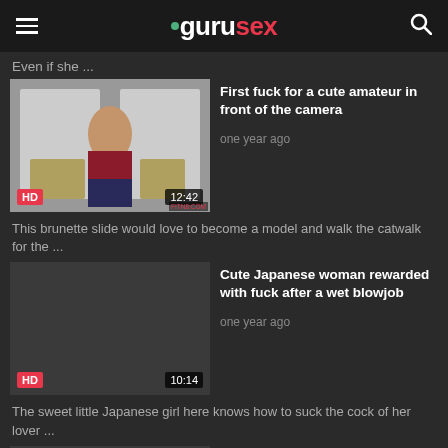gurusex
Even if she ...
[Figure (photo): Video thumbnail showing a brunette woman in red crop top and jeans in a room with chairs]
First fuck for a cute amateur in front of the camera
one year ago
This brunette slide would love to become a model and walk the catwalk for the ...
[Figure (photo): Dark/empty video thumbnail placeholder]
Cute Japanese woman rewarded with fuck after a wet blowjob
one year ago
The sweet little Japanese girl here knows how to suck the cock of her lover ...
Cute school girl gets fucked hard and fisted by her man